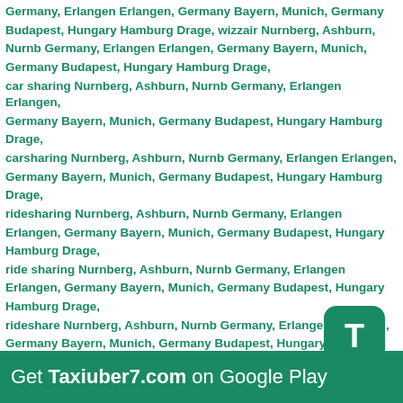Germany, Erlangen Erlangen, Germany Bayern, Munich, Germany Budapest, Hungary Hamburg Drage, wizzair Nurnberg, Ashburn, Nurnb Germany, Erlangen Erlangen, Germany Bayern, Munich, Germany Budapest, Hungary Hamburg Drage, car sharing Nurnberg, Ashburn, Nurnb Germany, Erlangen Erlangen, Germany Bayern, Munich, Germany Budapest, Hungary Hamburg Drage, carsharing Nurnberg, Ashburn, Nurnb Germany, Erlangen Erlangen, Germany Bayern, Munich, Germany Budapest, Hungary Hamburg Drage, ridesharing Nurnberg, Ashburn, Nurnb Germany, Erlangen Erlangen, Germany Bayern, Munich, Germany Budapest, Hungary Hamburg Drage, ride sharing Nurnberg, Ashburn, Nurnb Germany, Erlangen Erlangen, Germany Bayern, Munich, Germany Budapest, Hungary Hamburg Drage, rideshare Nurnberg, Ashburn, Nurnb Germany, Erlangen Erlangen, Germany Bayern, Munich, Germany Budapest, Hungary Hamburg Drage, carpooling Nurnberg, Ashburn, Nurnb Germany, Erlangen Erlangen, Germany Bayern, Munich, Germany Budapest, Hungary Hamburg Drage, carpool Nurnberg, Ashburn, Nurnb Germany, Erlangen Erlangen, Germany Bayern, Munich, Germany Budapest, Hungary Hamburg Drage, car pool Nurnberg, Ashburn, Nurnb Germany, Erlangen Erlangen,
[Figure (logo): Green rounded square icon with white letter T]
Get Taxiuber7.com on Google Play